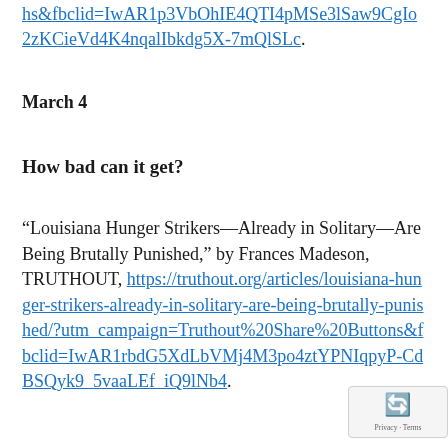hs&fbclid=IwAR1p3VbOhIE4QTI4pMSe3lSaw9CgIo2zKCieVd4K4nqalIbkdg5X-7mQlSLc.
March 4
How bad can it get?
“Louisiana Hunger Strikers—Already in Solitary—Are Being Brutally Punished,” by Frances Madeson, TRUTHOUT, https://truthout.org/articles/louisiana-hunger-strikers-already-in-solitary-are-being-brutally-punished/?utm_campaign=Truthout%20Share%20Buttons&fbclid=IwAR1rbdG5XdLbVMj4M3po4ztYPNIqpyP-CdBSQyk9_5vaaLEf_iQ9lNb4.